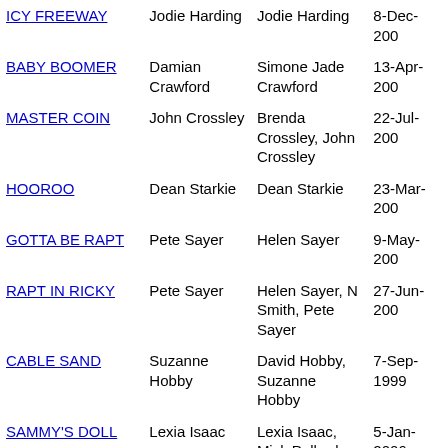| Name | Trainer | Owner | Date |
| --- | --- | --- | --- |
| ICY FREEWAY | Jodie Harding | Jodie Harding | 8-Dec-200… |
| BABY BOOMER | Damian Crawford | Simone Jade Crawford | 13-Apr-200… |
| MASTER COIN | John Crossley | Brenda Crossley, John Crossley | 22-Jul-200… |
| HOOROO | Dean Starkie | Dean Starkie | 23-Mar-200… |
| GOTTA BE RAPT | Pete Sayer | Helen Sayer | 9-May-200… |
| RAPT IN RICKY | Pete Sayer | Helen Sayer, N Smith, Pete Sayer | 27-Jun-200… |
| CABLE SAND | Suzanne Hobby | David Hobby, Suzanne Hobby | 7-Sep-1999… |
| SAMMY'S DOLL | Lexia Isaac | Lexia Isaac, Mick Pollard | 5-Jan-2006… |
| HOWIE | Terry Erenshaw | Bill Keen | 27-Apr-200… |